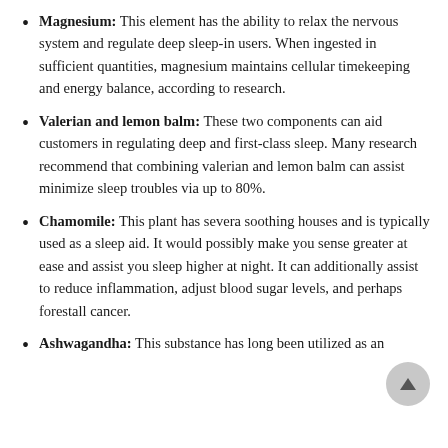Magnesium: This element has the ability to relax the nervous system and regulate deep sleep-in users. When ingested in sufficient quantities, magnesium maintains cellular timekeeping and energy balance, according to research.
Valerian and lemon balm: These two components can aid customers in regulating deep and first-class sleep. Many research recommend that combining valerian and lemon balm can assist minimize sleep troubles via up to 80%.
Chamomile: This plant has severa soothing houses and is typically used as a sleep aid. It would possibly make you sense greater at ease and assist you sleep higher at night. It can additionally assist to reduce inflammation, adjust blood sugar levels, and perhaps forestall cancer.
Ashwagandha: This substance has long been utilized as an